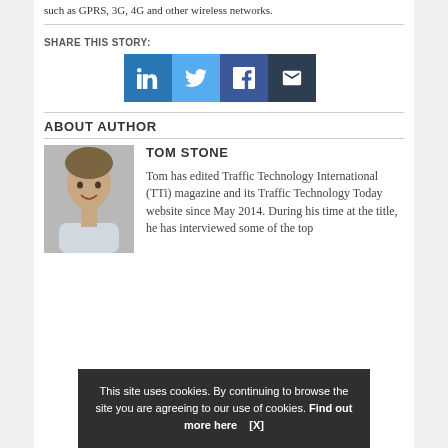such as GPRS, 3G, 4G and other wireless networks.
SHARE THIS STORY:
[Figure (infographic): Social sharing buttons: LinkedIn (blue), Twitter (light blue), Facebook (dark blue), Email (dark navy)]
ABOUT AUTHOR
[Figure (photo): Headshot photo of Tom Stone, a young man smiling]
TOM STONE
Tom has edited Traffic Technology International (TTi) magazine and its Traffic Technology Today website since May 2014. During his time at the title, he has interviewed some of the top
This site uses cookies. By continuing to browse the site you are agreeing to our use of cookies. Find out more here   [X]